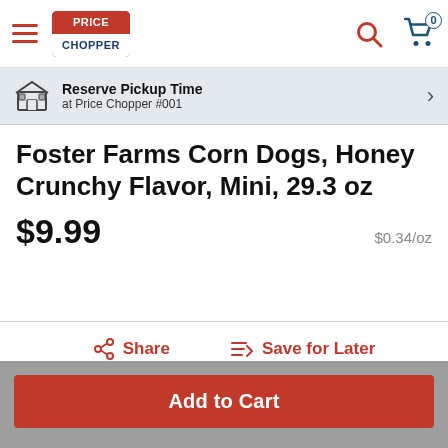Price Chopper
Reserve Pickup Time at Price Chopper #001
Foster Farms Corn Dogs, Honey Crunchy Flavor, Mini, 29.3 oz
$9.99  $0.34/oz
Share   Save for Later
Add to Cart